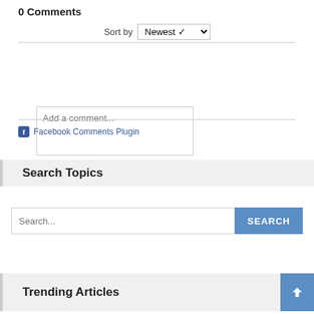0 Comments
Sort by Newest
[Figure (screenshot): Text input box with placeholder 'Add a comment...']
Facebook Comments Plugin
Search Topics
[Figure (screenshot): Search input field with placeholder 'Search...' and a blue SEARCH button]
Trending Articles